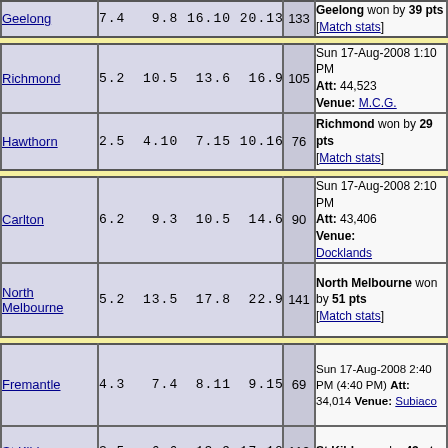| Team | Scores | Total | Result/Info |
| --- | --- | --- | --- |
| Geelong | 7.4  9.8  16.10  20.13 | 133 | Geelong won by 39 pts [Match stats] |
| Richmond | 5.2  10.5  13.6  16.9 | 105 | Sun 17-Aug-2008 1:10 PM Att: 44,523 Venue: M.C.G. |
| Hawthorn | 2.5  4.10  7.15  10.16 | 76 | Richmond won by 29 pts [Match stats] |
| Carlton | 6.2  9.3  10.5  14.6 | 90 | Sun 17-Aug-2008 2:10 PM Att: 43,406 Venue: Docklands |
| North Melbourne | 5.2  13.5  17.8  22.9 | 141 | North Melbourne won by 51 pts [Match stats] |
| Fremantle | 4.3  7.4  8.11  9.15 | 69 | Sun 17-Aug-2008 2:40 PM (4:40 PM) Att: 34,014 Venue: Subiaco |
| St Kilda | 3.5  6.6  13.9  17.10 | 112 | St Kilda won by 43 pts |